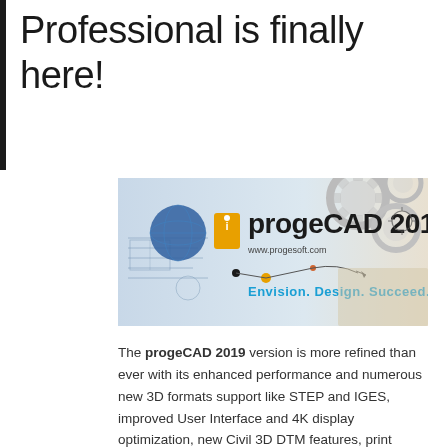Professional is finally here!
[Figure (logo): progeCAD 2019 banner with logo, gears background, www.progesoft.com URL, and tagline 'Envision. Design. Succeed.']
The progeCAD 2019 version is more refined than ever with its enhanced performance and numerous new 3D formats support like STEP and IGES, improved User Interface and 4K display optimization, new Civil 3D DTM features, print without margins, automated numbered markers and a series of new Express Tools. Watch the new version Video presentation.